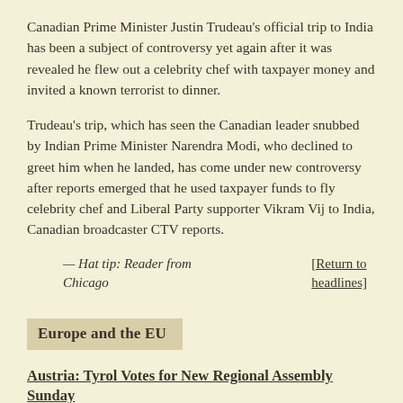Canadian Prime Minister Justin Trudeau's official trip to India has been a subject of controversy yet again after it was revealed he flew out a celebrity chef with taxpayer money and invited a known terrorist to dinner.
Trudeau's trip, which has seen the Canadian leader snubbed by Indian Prime Minister Narendra Modi, who declined to greet him when he landed, has come under new controversy after reports emerged that he used taxpayer funds to fly celebrity chef and Liberal Party supporter Vikram Vij to India, Canadian broadcaster CTV reports.
— Hat tip: Reader from Chicago      [Return to headlines]
Europe and the EU
Austria: Tyrol Votes for New Regional Assembly Sunday
537,273 voters going to the polls